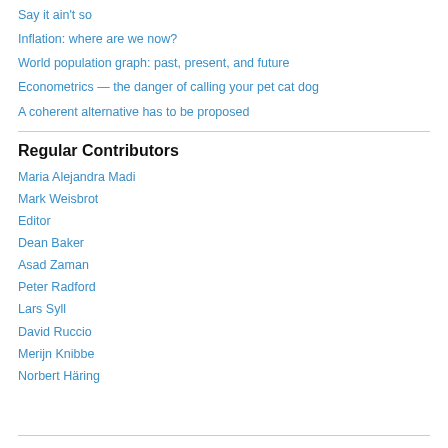Say it ain't so
Inflation: where are we now?
World population graph: past, present, and future
Econometrics — the danger of calling your pet cat dog
A coherent alternative has to be proposed
Regular Contributors
Maria Alejandra Madi
Mark Weisbrot
Editor
Dean Baker
Asad Zaman
Peter Radford
Lars Syll
David Ruccio
Merijn Knibbe
Norbert Häring